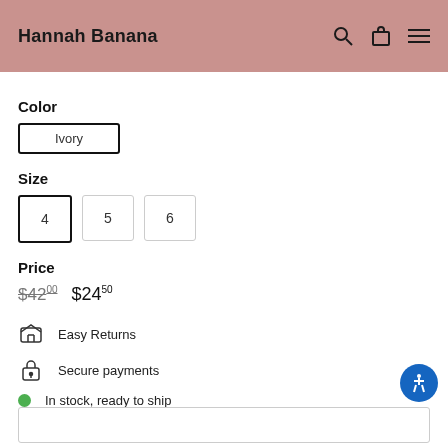Hannah Banana
Color
Ivory
Size
4
5
6
Price
$42.00  $24.50
Easy Returns
Secure payments
In stock, ready to ship